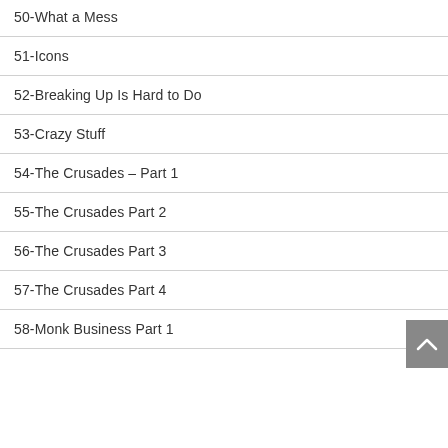50-What a Mess
51-Icons
52-Breaking Up Is Hard to Do
53-Crazy Stuff
54-The Crusades – Part 1
55-The Crusades Part 2
56-The Crusades Part 3
57-The Crusades Part 4
58-Monk Business Part 1